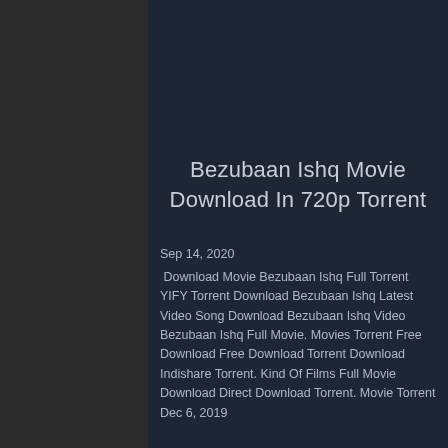Bezubaan Ishq Movie Download In 720p Torrent
Sep 14, 2020
 Download Movie Bezubaan Ishq Full Torrent YIFY Torrent Download Bezubaan Ishq Latest Video Song Download Bezubaan Ishq Video Bezubaan Ishq Full Movie. Movies Torrent Free Download Free Download Torrent Download Indishare Torrent. Kind Of Films Full Movie Download Direct Download Torrent. Movie Torrent Dec 6, 2019